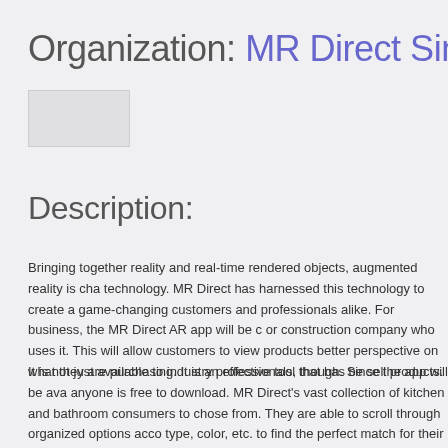Organization: MR Direct Sinks & F
[Figure (other): Small image or logo placeholder in upper left area]
Description:
Bringing together reality and real-time rendered objects, augmented reality is cha technology. MR Direct has harnessed this technology to create a game-changing customers and professionals alike. For business, the MR Direct AR app will be c or construction company who uses it. This will allow customers to view products better perspective on what they are purchasing. It is an effective tool that has be sell products.
It is not just available to industry professionals, though. Since the app will be ava anyone is free to download. MR Direct's vast collection of kitchen and bathroom consumers to chose from. They are able to scroll through organized options acco type, color, etc. to find the perfect match for their home. From there, they are abl countertop material, edging and color to gain a better understanding of what thei become.